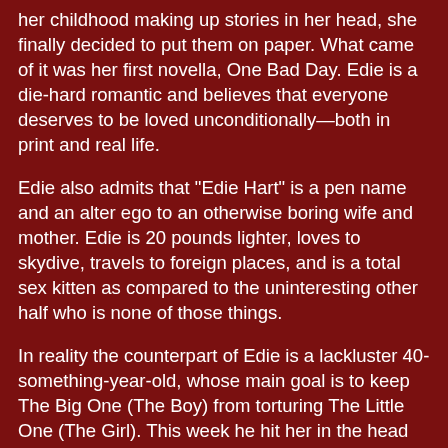her childhood making up stories in her head, she finally decided to put them on paper. What came of it was her first novella, One Bad Day. Edie is a die-hard romantic and believes that everyone deserves to be loved unconditionally—both in print and real life.

Edie also admits that "Edie Hart" is a pen name and an alter ego to an otherwise boring wife and mother. Edie is 20 pounds lighter, loves to skydive, travels to foreign places, and is a total sex kitten as compared to the uninteresting other half who is none of those things.

In reality the counterpart of Edie is a lackluster 40-something-year-old, whose main goal is to keep The Big One (The Boy) from torturing The Little One (The Girl). This week he hit her in the head with a 12-pack of Juicy Juice. Last week he left